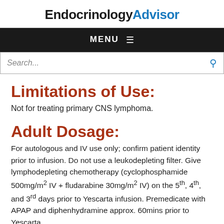EndocrinologyAdvisor
MENU
Search...
Limitations of Use:
Not for treating primary CNS lymphoma.
Adult Dosage:
For autologous and IV use only; confirm patient identity prior to infusion. Do not use a leukodepleting filter. Give lymphodepleting chemotherapy (cyclophosphamide 500mg/m2 IV + fludarabine 30mg/m2 IV) on the 5th, 4th, and 3rd days prior to Yescarta infusion. Premedicate with APAP and diphenhydramine approx. 60mins prior to Yescarta